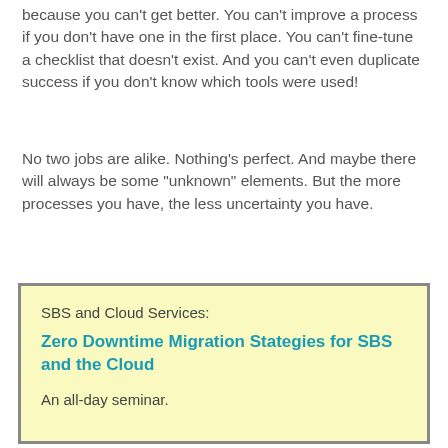because you can't get better. You can't improve a process if you don't have one in the first place. You can't fine-tune a checklist that doesn't exist. And you can't even duplicate success if you don't know which tools were used!
No two jobs are alike. Nothing's perfect. And maybe there will always be some "unknown" elements. But the more processes you have, the less uncertainty you have.
:-)
SBS and Cloud Services:
Zero Downtime Migration Stategies for SBS and the Cloud
An all-day seminar.